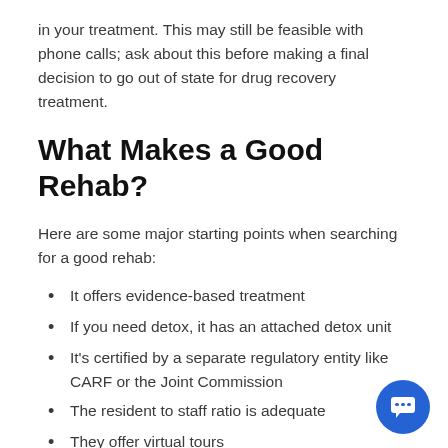in your treatment. This may still be feasible with phone calls; ask about this before making a final decision to go out of state for drug recovery treatment.
What Makes a Good Rehab?
Here are some major starting points when searching for a good rehab:
It offers evidence-based treatment
If you need detox, it has an attached detox unit
It's certified by a separate regulatory entity like CARF or the Joint Commission
The resident to staff ratio is adequate
They offer virtual tours
All treatment staff is state-licensed
Evidence-based treatment means drug treatment therapy that